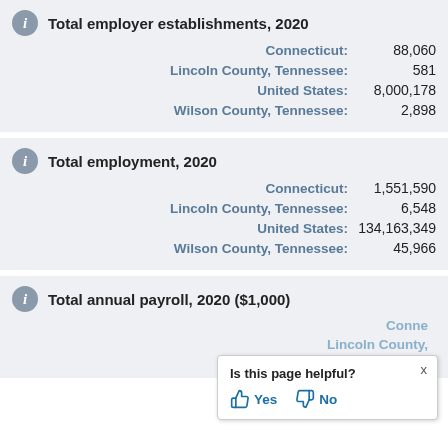Total employer establishments, 2020
| Geography | Value |
| --- | --- |
| Connecticut: | 88,060 |
| Lincoln County, Tennessee: | 581 |
| United States: | 8,000,178 |
| Wilson County, Tennessee: | 2,898 |
Total employment, 2020
| Geography | Value |
| --- | --- |
| Connecticut: | 1,551,590 |
| Lincoln County, Tennessee: | 6,548 |
| United States: | 134,163,349 |
| Wilson County, Tennessee: | 45,966 |
Total annual payroll, 2020 ($1,000)
Connecticut: [partially obscured]
Lincoln County, [partially obscured]
Is this page helpful? Yes No